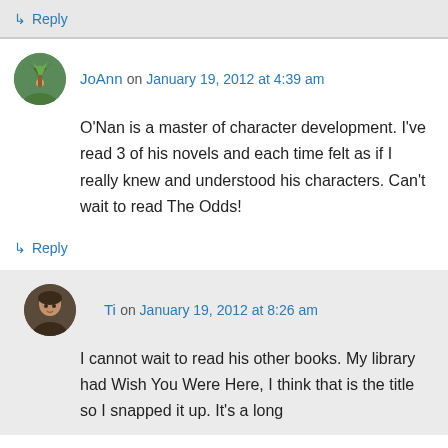↳ Reply
JoAnn on January 19, 2012 at 4:39 am
O'Nan is a master of character development. I've read 3 of his novels and each time felt as if I really knew and understood his characters. Can't wait to read The Odds!
↳ Reply
Ti on January 19, 2012 at 8:26 am
I cannot wait to read his other books. My library had Wish You Were Here, I think that is the title so I snapped it up. It's a long